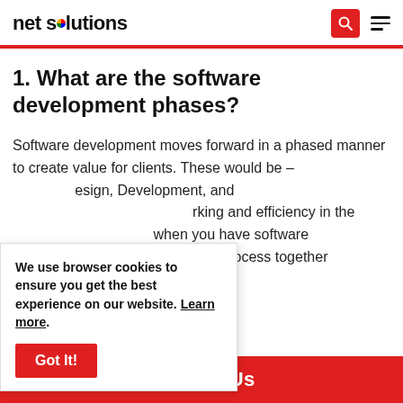net solutions
1. What are the software development phases?
Software development moves forward in a phased manner to create value for clients. These would be – Requirements, Design, Development, and Testing. It ensures better working and efficiency in the development process when you have software development phases to hold the process together and reduce losses.
We use browser cookies to ensure you get the best experience on our website. Learn more.
Got It!
Contact Us